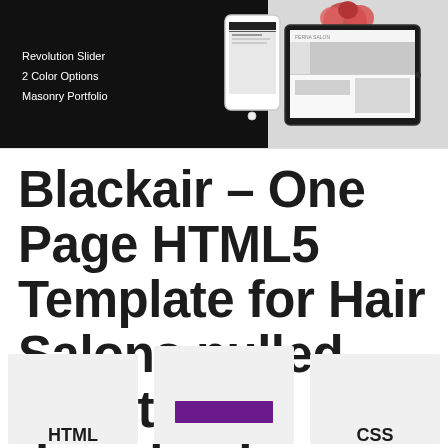[Figure (screenshot): Screenshot of Blackair hair salon HTML template shown on phone and tablet mockups, with black left panel listing features: Revolution Slider, 2 Color Options, Masonry Portfolio]
Blackair – One Page HTML5 Template for Hair Salons nulled script free download
[Figure (infographic): Three category cards at bottom showing HTML, a purple bar graphic, and CSS labels]